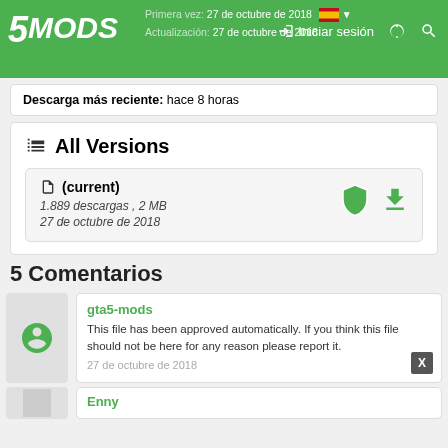5MODS | Iniciar sesión | Primera vez: 27 de octubre de 2018 | Actualización: 27 de octubre de 2018
Descarga más reciente: hace 8 horas
All Versions
(current)
1.889 descargas , 2 MB
27 de octubre de 2018
5 Comentarios
gta5-mods
This file has been approved automatically. If you think this file should not be here for any reason please report it.
27 de octubre de 2018
Enny